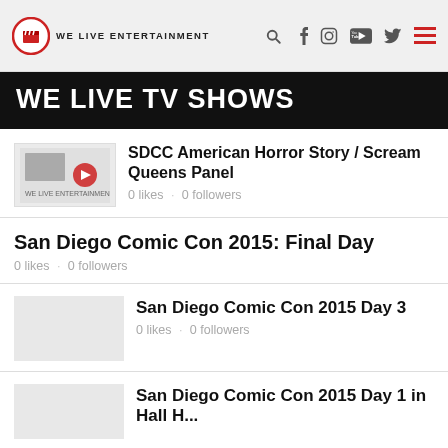WE LIVE ENTERTAINMENT
WE LIVE TV SHOWS
SDCC American Horror Story / Scream Queens Panel · 0 likes · 0 followers
San Diego Comic Con 2015: Final Day · 0 likes · 0 followers
San Diego Comic Con 2015 Day 3 · 0 likes · 0 followers
San Diego Comic Con 2015 Day 1 in Hall H...